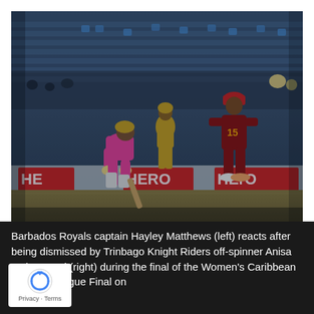[Figure (photo): Cricket match photo showing Barbados Royals captain Hayley Matthews in pink uniform bending forward in reaction after dismissal, with a Trinbago Knight Riders player in dark red uniform walking in the background, on a cricket ground. Hero advertising boards visible along the boundary.]
Barbados Royals captain Hayley Matthews (left) reacts after being dismissed by Trinbago Knight Riders off-spinner Anisa Mohammed (right) during the final of the Women's Caribbean Premier League Final on